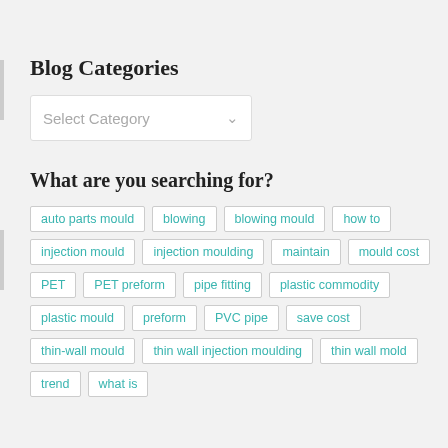Blog Categories
[Figure (other): Dropdown select box labeled 'Select Category' with a chevron arrow]
What are you searching for?
auto parts mould
blowing
blowing mould
how to
injection mould
injection moulding
maintain
mould cost
PET
PET preform
pipe fitting
plastic commodity
plastic mould
preform
PVC pipe
save cost
thin-wall mould
thin wall injection moulding
thin wall mold
trend
what is